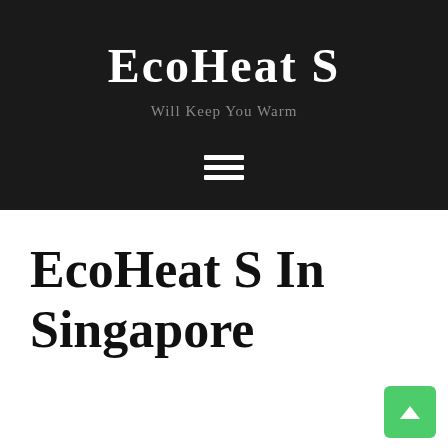EcoHeat S
Will Keep You Warm
[Figure (other): Hamburger menu icon made of three horizontal white bars on dark background]
EcoHeat S In Singapore
[Figure (other): Green scroll-to-top button with upward arrow in the bottom right corner]